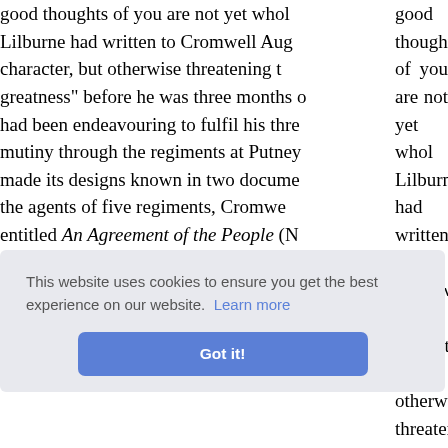good thoughts of you are not yet who... Lilburne had written to Cromwell Aug... character, but otherwise threatening t... greatness" before he was three months o... had been endeavouring to fulfil his thre... mutiny through the regiments at Putney... made its designs known in two documen... the agents of five regiments, Cromwe... entitled An Agreement of the People (N... others. Both documents pledged the re... rights; and among these rights were the... reconstitution of the Government of En... reformed system of suffrage, and mee... matters, except five specified fundame... considera... n the ma... e from s... , here w... r strengt... 860; Go... incredible and contradictory hypotheses...
[Figure (screenshot): Cookie consent banner with text 'This website uses cookies to ensure you get the best experience on our website. Learn more' and a blue 'Got it!' button]